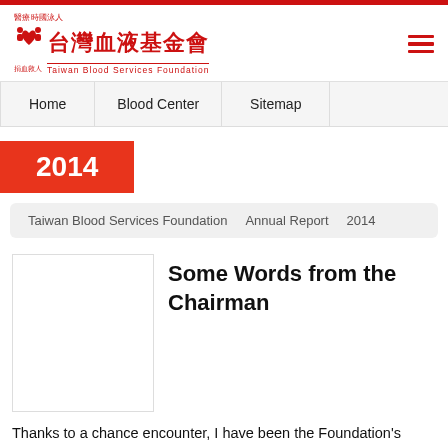台灣血液基金會 Taiwan Blood Services Foundation
Home   Blood Center   Sitemap
2014
Taiwan Blood Services Foundation   Annual Report   2014
[Figure (photo): Photo placeholder for Chairman portrait]
Some Words from the Chairman
Thanks to a chance encounter, I have been the Foundation's Chairman for a fullyear. In the past one year, it is my real honor to work with all of my colleagues of the Taiwan Blood Services Foundation. We achieved a lot of things and set a…